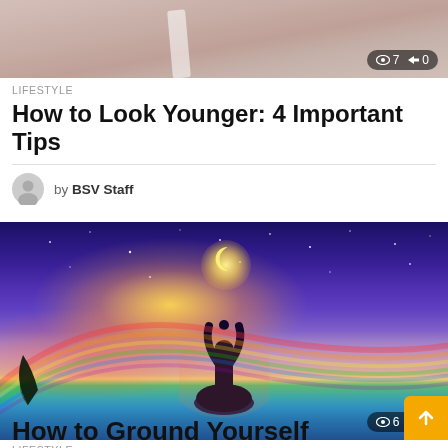[Figure (photo): Cropped photo of a person, bottom portion of face and shoulders visible, light skin, white strap visible, with stats badge showing eye icon 7 and share icon 0 in bottom right]
LIFESTYLE
How to Look Younger: 4 Important Tips
by BSV Staff
[Figure (photo): Mystical photo of a silhouetted figure in lotus yoga pose with arms raised, glowing crescent moon between hands, colorful cosmic sky background with rainbow colors, with stats badge showing eye icon 6 and share icon 0]
LIFESTYLE
How to Ground Yourself